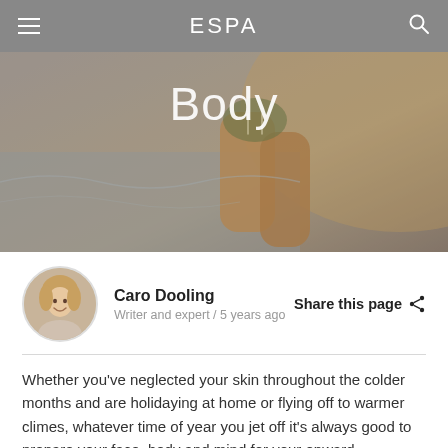ESPA
[Figure (photo): Hero image showing a person at a beach, legs visible, wearing a swimsuit. Text 'Body' overlaid in white.]
Caro Dooling
Writer and expert / 5 years ago
Share this page
Whether you’ve neglected your skin throughout the colder months and are holidaying at home or flying off to warmer climes, whatever time of year you jet off it’s always good to prepare your face, body and mind for your onward adventures.
Here we share a few simple tips to ready you for fun in the